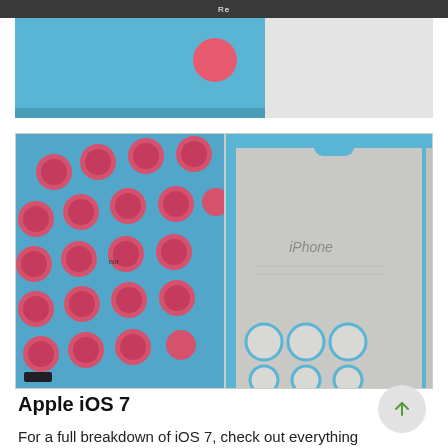[Figure (photo): Partial top image of a blue silicone iPhone case with pink dots/holes pattern, cropped at the bottom]
[Figure (photo): Two side-by-side photos: left shows close-up of blue iPhone 5c case exterior with pink circular holes pattern; right shows interior of the same blue case with 'iPhone' text embossed and cutout holes revealing white background]
Apple iOS 7
For a full breakdown of iOS 7, check out everything